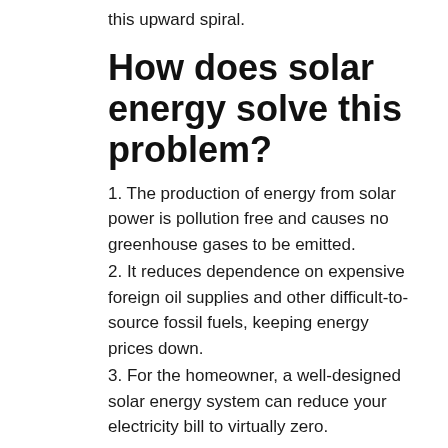this upward spiral.
How does solar energy solve this problem?
1. The production of energy from solar power is pollution free and causes no greenhouse gases to be emitted.
2. It reduces dependence on expensive foreign oil supplies and other difficult-to-source fossil fuels, keeping energy prices down.
3. For the homeowner, a well-designed solar energy system can reduce your electricity bill to virtually zero.
4. Your property value will increase, improving the salability of your home.
5. Solar power is a fully renewable clean power source that is available every day of the